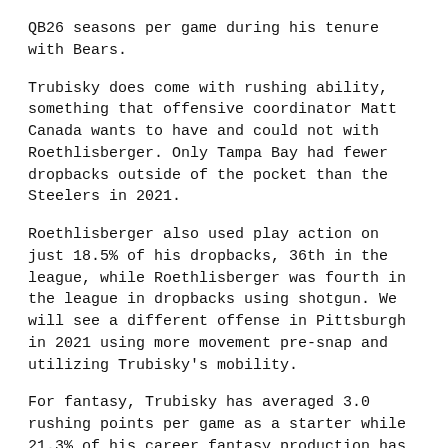QB26 seasons per game during his tenure with Bears.
Trubisky does come with rushing ability, something that offensive coordinator Matt Canada wants to have and could not with Roethlisberger. Only Tampa Bay had fewer dropbacks outside of the pocket than the Steelers in 2021.
Roethlisberger also used play action on just 18.5% of his dropbacks, 36th in the league, while Roethlisberger was fourth in the league in dropbacks using shotgun. We will see a different offense in Pittsburgh in 2021 using more movement pre-snap and utilizing Trubisky's mobility.
For fantasy, Trubisky has averaged 3.0 rushing points per game as a starter while 21.3% of his career fantasy production has come directly from rushing.
Trubisky is still stuck as a QB2 and streamer for fantasy purposes, but he does have some mobility and has capable playmakers surrounding him in Najee Harris, Diontae